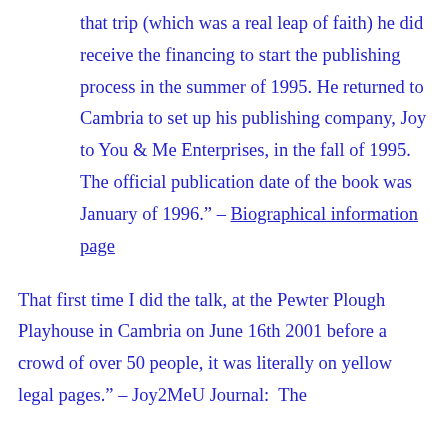that trip (which was a real leap of faith) he did receive the financing to start the publishing process in the summer of 1995. He returned to Cambria to set up his publishing company, Joy to You & Me Enterprises, in the fall of 1995. The official publication date of the book was January of 1996." – Biographical information page
That first time I did the talk, at the Pewter Plough Playhouse in Cambria on June 16th 2001 before a crowd of over 50 people, it was literally on yellow legal pages." – Joy2MeU Journal:  The